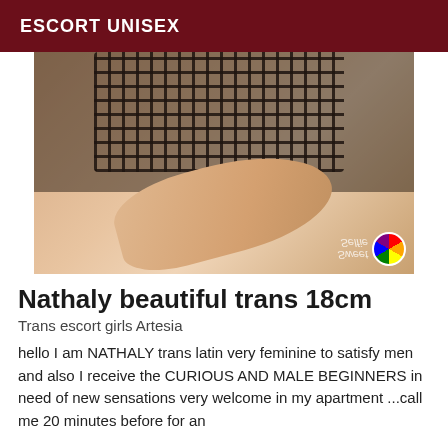ESCORT UNISEX
[Figure (photo): A person wearing a black mesh/fishnet top lying on a light-colored surface, with a watermark reading 'Sweet Selfie' and a colorful circle logo in the bottom right corner.]
Nathaly beautiful trans 18cm
Trans escort girls Artesia
hello I am NATHALY trans latin very feminine to satisfy men and also I receive the CURIOUS AND MALE BEGINNERS in need of new sensations very welcome in my apartment ...call me 20 minutes before for an